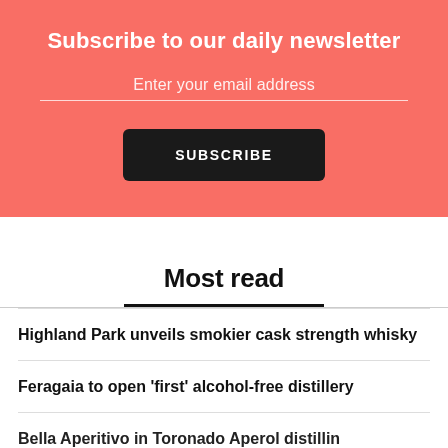Subscribe to our daily newsletter
Enter your email address
SUBSCRIBE
Most read
Highland Park unveils smokier cask strength whisky
Feragaia to open 'first' alcohol-free distillery
Bella Apprentice in Toronado Aperol distillery